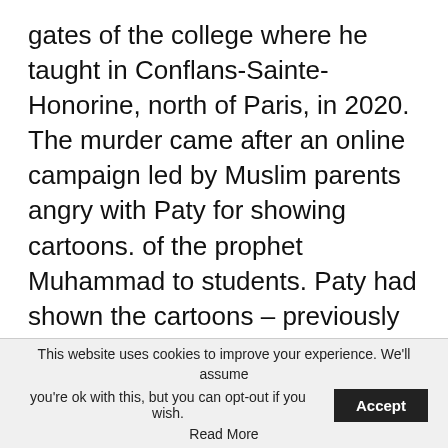gates of the college where he taught in Conflans-Sainte-Honorine, north of Paris, in 2020. The murder came after an online campaign led by Muslim parents angry with Paty for showing cartoons. of the prophet Muhammad to students. Paty had shown the cartoons – previously printed in Charlie Hebdo magazine – to students as part of a free speech lesson. Mr Salih, to whom Mr Shilbak responded, is editor of 5Pillars, a controversial website funded by an organization associated with the UK's only state-approved press regulator.
This website uses cookies to improve your experience. We'll assume you're ok with this, but you can opt-out if you wish. Accept Read More